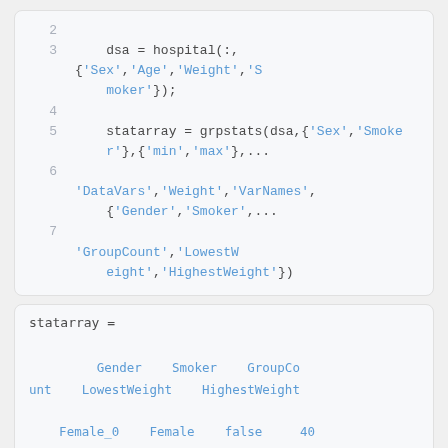[Figure (screenshot): Code block showing MATLAB/Octave code lines 2-7 with syntax highlighting]
[Figure (screenshot): Output block showing statarray variable with table output including Gender, Smoker, GroupCount, LowestWeight, HighestWeight columns and Female_0/Female_1 rows]